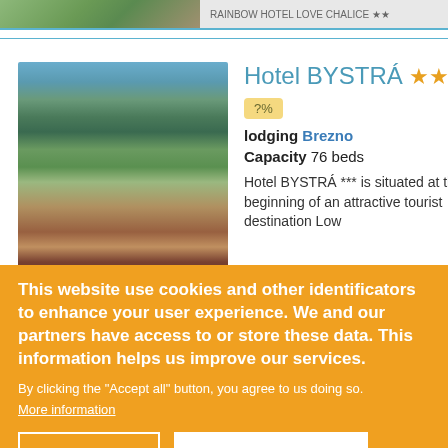[Figure (photo): Partial top strip showing previous hotel listing image and truncated text]
[Figure (photo): Aerial/elevated photo of Hotel BYSTRÁ showing multi-storey building surrounded by trees, mountains in background, tennis courts visible]
Hotel BYSTRÁ ★★★
?%
lodging Brezno
Capacity 76 beds
Hotel BYSTRÁ *** is situated at the beginning of an attractive tourist destination Low
This website use cookies and other identificators to enhance your user experience. We and our partners have access to or store these data. This information helps us improve our services.
By clicking the "Accept all" button, you agree to us doing so.
More information
EDIT
ACCEPT ALL